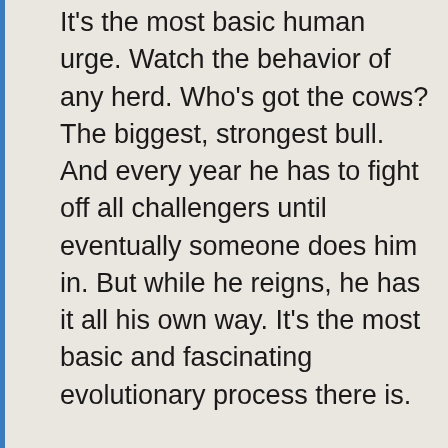It's the most basic human urge. Watch the behavior of any herd. Who's got the cows? The biggest, strongest bull. And every year he has to fight off all challengers until eventually someone does him in. But while he reigns, he has it all his own way. It's the most basic and fascinating evolutionary process there is.